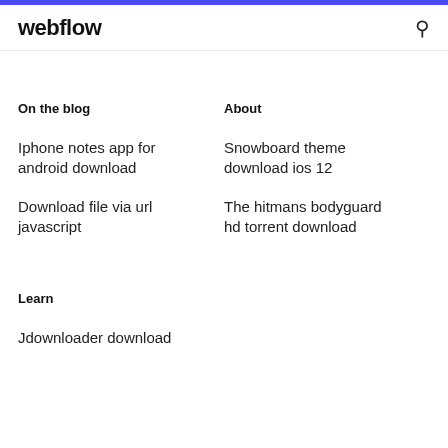webflow
On the blog
About
Iphone notes app for android download
Snowboard theme download ios 12
Download file via url javascript
The hitmans bodyguard hd torrent download
Learn
Jdownloader download